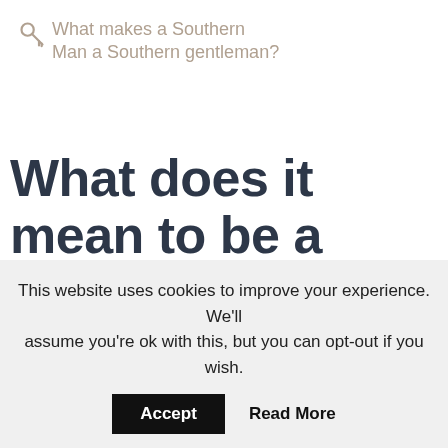What makes a Southern Man a Southern gentleman?
What does it mean to be a Southern gentleman?
It is someone who has the utmost respect for women. Examples of things a Southern Gentleman would do include but are not limited to:
This website uses cookies to improve your experience. We'll assume you're ok with this, but you can opt-out if you wish.